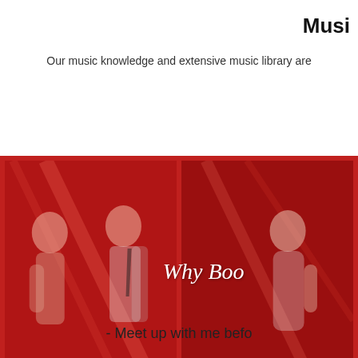Musi
Our music knowledge and extensive music library are
[Figure (photo): Two red-tinted photo panels side by side showing a couple dancing. Overlaid cursive text reads 'Why Boo' (partially cropped).]
- Meet up with me befo